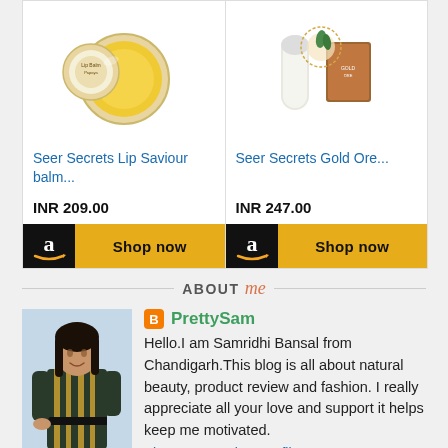[Figure (photo): Product image of Seer Secrets Lip Saviour balm in a round container with yellow balm visible]
Seer Secrets Lip Saviour balm...
INR 209.00
[Figure (photo): Shop now button with Amazon logo]
[Figure (photo): Product image of Seer Secrets Gold Ore products]
Seer Secrets Gold Ore...
INR 247.00
[Figure (photo): Shop now button with Amazon logo]
ABOUT me
[Figure (photo): Profile photo of a woman in a striped shirt]
PrettySam
Hello.I am Samridhi Bansal from Chandigarh.This blog is all about natural beauty, product review and fashion. I really appreciate all your love and support it helps keep me motivated.
View my complete profile